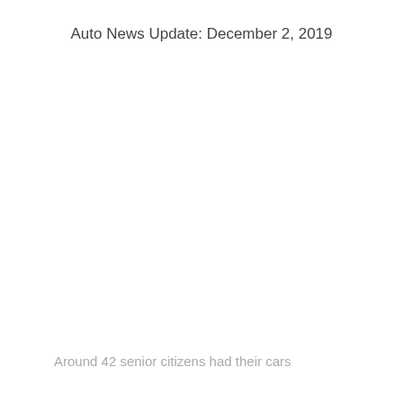Auto News Update: December 2, 2019
Around 42 senior citizens had their cars